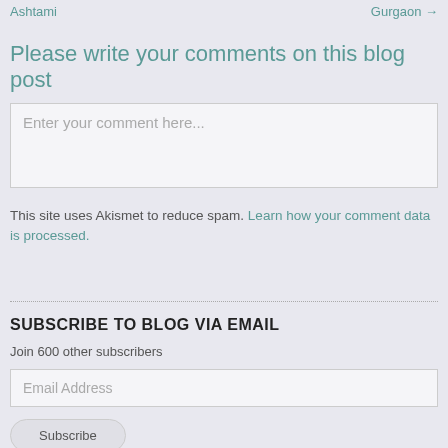Ashtami   Gurgaon →
Please write your comments on this blog post
Enter your comment here...
This site uses Akismet to reduce spam. Learn how your comment data is processed.
SUBSCRIBE TO BLOG VIA EMAIL
Join 600 other subscribers
Email Address